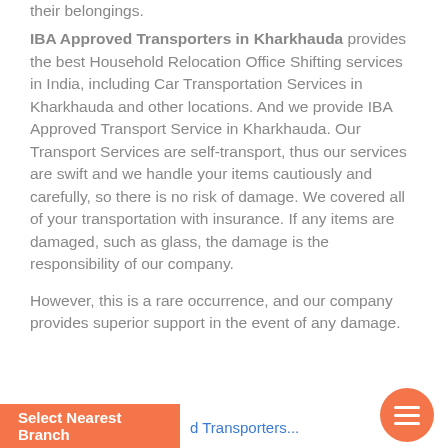their belongings.
IBA Approved Transporters in Kharkhauda
provides the best Household Relocation Office Shifting services in India, including Car Transportation Services in Kharkhauda and other locations. And we provide IBA Approved Transport Service in Kharkhauda. Our Transport Services are self-transport, thus our services are swift and we handle your items cautiously and carefully, so there is no risk of damage. We covered all of your transportation with insurance. If any items are damaged, such as glass, the damage is the responsibility of our company.
However, this is a rare occurrence, and our company provides superior support in the event of any damage.
Select Nearest Branch
d Transporters...